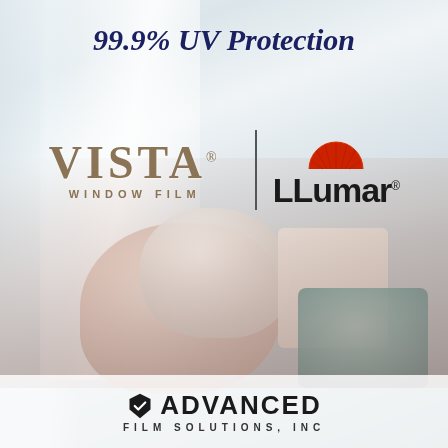99.9% UV Protection
[Figure (logo): VISTA Window Film logo with brown/tan serif lettering and 'WINDOW FILM' subtitle]
[Figure (logo): LLumar logo with red semicircle sun icon above bold 'LLumar' text]
[Figure (photo): Interior room photo with sheer white curtains, bright window light, and colorful pillows on a couch/bed]
[Figure (logo): Advanced Film Solutions, Inc. logo with checkmark icon and bold text]